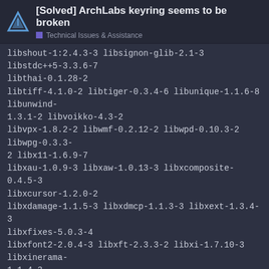[Solved] ArchLabs keyring seems to be broken
Technical Issues & Assistance
libshout-1:2.4.3-3 libsignon-glib-2.1-3 libstdc++5-3.3.6-7 libthai-0.1.28-2
libtiff-4.1.0-2 libtiger-0.3.4-6 libunique-1.1.6-8 libunwind-1.3.1-2 libvoikko-4.3-2
libvpx-1.8.2-2 libwmf-0.2.12-2 libwpd-0.10.3-2 libwpg-0.3.3-2 libx11-1.6.9-7
libxau-1.0.9-3 libxaw-1.0.13-3 libxcomposite-0.4.5-3 libxcursor-1.2.0-2
libxdamage-1.1.5-3 libxdmcp-1.1.3-3 libxext-1.3.4-3 libxfixes-5.0.3-4
libxfont2-2.0.4-3 libxft-2.3.3-2 libxi-1.7.10-3 libxinerama-1.1.4-3
libxkbfile-1.1.0-2 libxmu-1.1.3-2 libxp-1.0.3-4 libxpm-3.5.13-2 libxrandr-1.5.2-3
libxrender-0.9.10-4 libxslt-1.1.34-3 libxss-1.2.3-3 libxt-1.2.0-2 libxtst-1.2.3-4
libxv-1.0.11-4 libxxf86vm-1.1.4-4 libytpef-1.9.3+7+g24fe30e-2
lightdm-gtk-greeter-1:2.0.7-2 lirc-1:
1 / 21